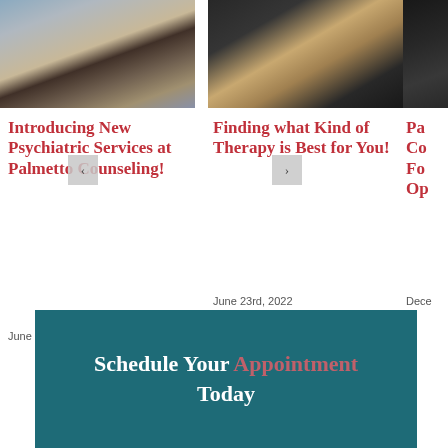[Figure (photo): Therapy session photo - two people sitting on a couch]
Introducing New Psychiatric Services at Palmetto Counseling!
June 23rd, 2022
[Figure (photo): Hands clasped together photo]
Finding what Kind of Therapy is Best for You!
June 23rd, 2022
[Figure (photo): Partially visible third card photo]
Pa... Co... Fo... Op...
Dece...
Schedule Your Appointment Today